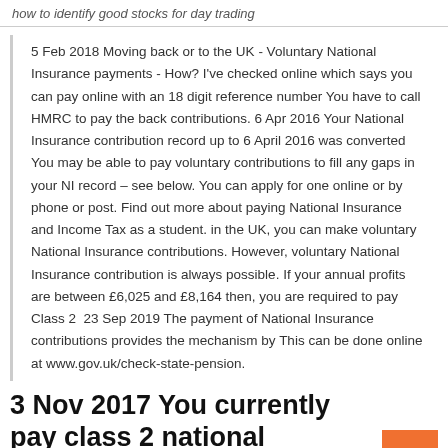how to identify good stocks for day trading
5 Feb 2018 Moving back or to the UK - Voluntary National Insurance payments - How? I've checked online which says you can pay online with an 18 digit reference number You have to call HMRC to pay the back contributions. 6 Apr 2016 Your National Insurance contribution record up to 6 April 2016 was converted You may be able to pay voluntary contributions to fill any gaps in your NI record – see below. You can apply for one online or by phone or post. Find out more about paying National Insurance and Income Tax as a student. in the UK, you can make voluntary National Insurance contributions. However, voluntary National Insurance contribution is always possible. If your annual profits are between £6,025 and £8,164 then, you are required to pay Class 2  23 Sep 2019 The payment of National Insurance contributions provides the mechanism by This can be done online at www.gov.uk/check-state-pension.
3 Nov 2017 You currently pay class 2 national insurance